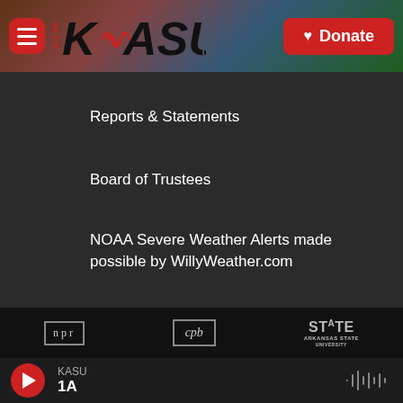[Figure (logo): KASU 91.9 FM radio station header with logo and Donate button]
Reports & Statements
Board of Trustees
NOAA Severe Weather Alerts made possible by WillyWeather.com
[Figure (logo): NPR logo]
[Figure (logo): CPB logo]
[Figure (logo): Arkansas State University logo small]
[Figure (logo): Arkansas State University College of Liberal Arts & Communications logo]
[Figure (logo): American Public Media logo]
[Figure (logo): PRX logo]
[Figure (logo): Protect My Public Media partial logo]
[Figure (screenshot): Audio player bar showing KASU playing 1A]